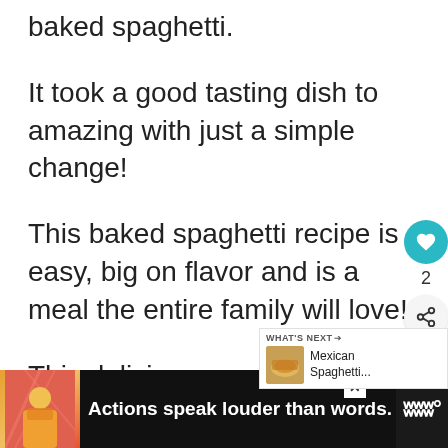baked spaghetti.
It took a good tasting dish to amazing with just a simple change!
This baked spaghetti recipe is easy, big on flavor and is a meal the entire family will love!
This delicious meal can be on the table in just a little over an hour.
[Figure (screenshot): What's Next widget showing Mexican Spaghetti recommendation with thumbnail image]
[Figure (screenshot): Advertisement banner at bottom: person in yellow shirt, text 'Actions speak louder than words.' on pink/coral background, close button, and Wonderium logo on dark background]